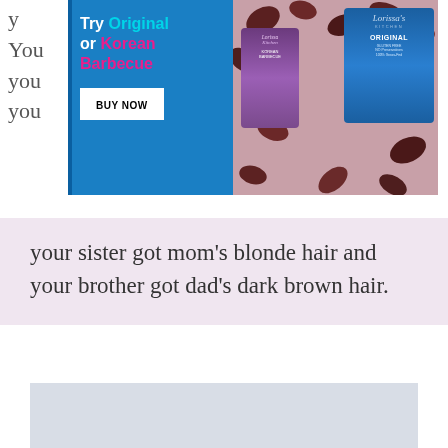your sister got mom's blonde hair and your brother got dad's dark brown hair.
[Figure (other): Advertisement banner for Lorissa's Kitchen jerky products. Blue background on left with text 'Try Original or Korean Barbecue' and a 'BUY NOW' button. Right side shows product packages (purple and blue) with meat pieces scattered around.]
your sister got mom's blonde hair and your brother got dad's dark brown hair.
[Figure (other): Gray placeholder rectangle, likely an advertisement or image placeholder.]